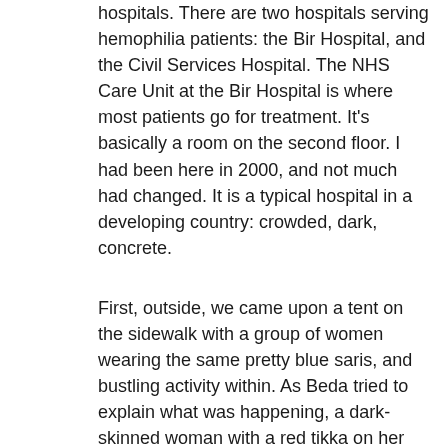hospitals. There are two hospitals serving hemophilia patients: the Bir Hospital, and the Civil Services Hospital. The NHS Care Unit at the Bir Hospital is where most patients go for treatment. It's basically a room on the second floor. I had been here in 2000, and not much had changed. It is a typical hospital in a developing country: crowded, dark, concrete.
First, outside, we came upon a tent on the sidewalk with a group of women wearing the same pretty blue saris, and bustling activity within. As Beda tried to explain what was happening, a dark-skinned woman with a red tikka on her forehead fairly attacked me with pleasure,